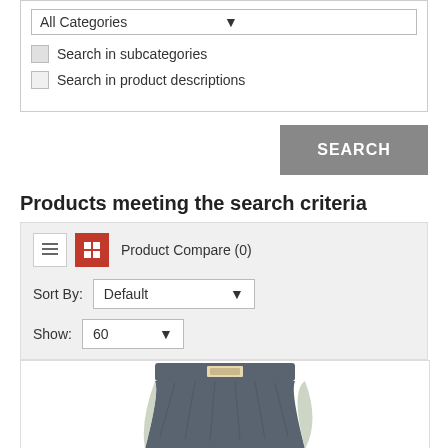All Categories (dropdown)
Search in subcategories
Search in product descriptions
SEARCH
Products meeting the search criteria
Product Compare (0)
Sort By: Default
Show: 60
[Figure (photo): Gray shorts/skirt with elastic waistband and label, partially visible from waist down]